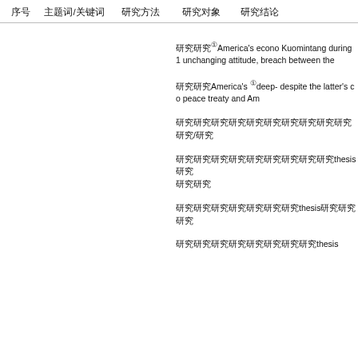序号　　　主题词/关键词　　　研究方法　　　研究对象　　　研究结论
研究①America's econo Kuomintang during 1 unchanging attitude, breach between the
研究America's ①deep- despite the latter's co peace treaty and Am
研究研究研究研究研究研究研究研究研究研究研究/研究
研究研究研究研究研究研究研究研究研究thesis研究研究
研究研究研究研究研究研究研究thesis研究研究研究
研究研究研究研究研究研究研究研究thesis